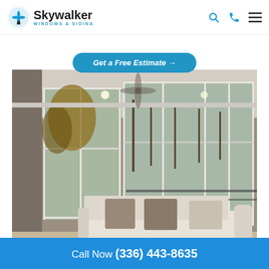Skywalker WINDOWS & SIDING
[Figure (screenshot): Get a Free Estimate button - blue rounded rectangle with italic white text]
[Figure (photo): Interior photo of a sunroom with white sectional sofa, ottoman, decorative pillows, ceiling fan, and large windows showing trees and yard outside]
Call Now (336) 443-8635